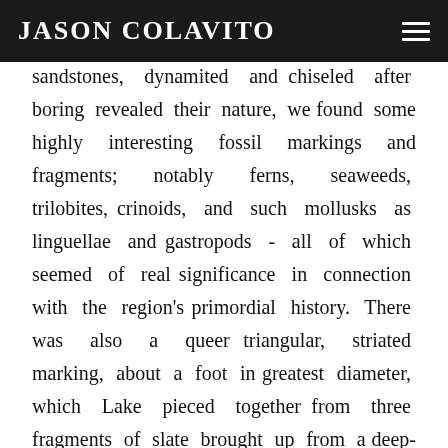JASON COLAVITO
sandstones, dynamited and chiseled after boring revealed their nature, we found some highly interesting fossil markings and fragments; notably ferns, seaweeds, trilobites, crinoids, and such mollusks as linguellae and gastropods - all of which seemed of real significance in connection with the region's primordial history. There was also a queer triangular, striated marking, about a foot in greatest diameter, which Lake pieced together from three fragments of slate brought up from a deep-blasted aperture. These fragments came from a point to the westward, near the Queen Alexandra Range; and Lake, as a biologist, seemed